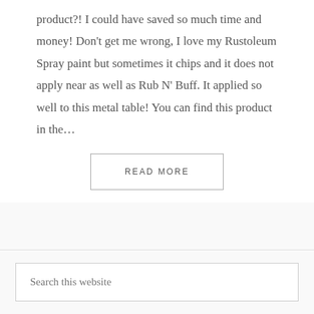product?! I could have saved so much time and money! Don't get me wrong, I love my Rustoleum Spray paint but sometimes it chips and it does not apply near as well as Rub N' Buff. It applied so well to this metal table! You can find this product in the…
READ MORE
Search this website